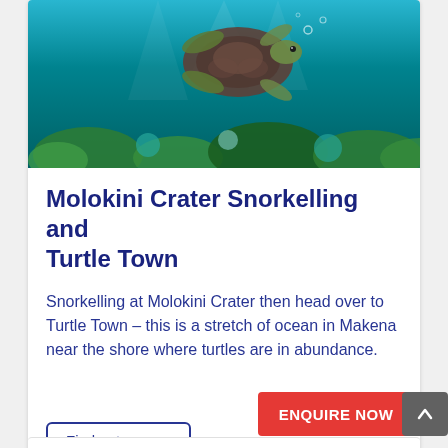[Figure (photo): Underwater photo of a sea turtle swimming over coral reef with blue water]
Molokini Crater Snorkelling and Turtle Town
Snorkelling at Molokini Crater then head over to Turtle Town – this is a stretch of ocean in Makena near the shore where turtles are in abundance.
Find out more »
ENQUIRE NOW